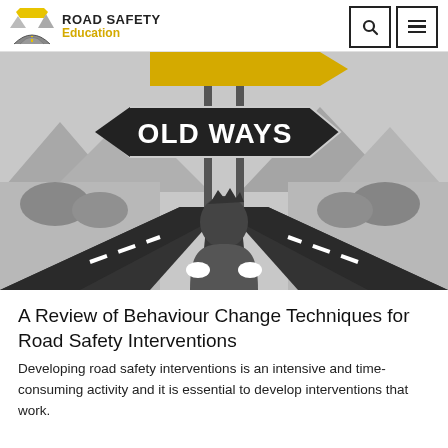ROAD SAFETY Education
[Figure (illustration): Cartoon illustration of a person seen from behind standing at a fork in the road. A large arrow-shaped road sign reads 'OLD WAYS' pointing to the left. The scene is rendered in grayscale with mountains and trees in the background.]
A Review of Behaviour Change Techniques for Road Safety Interventions
Developing road safety interventions is an intensive and time-consuming activity and it is essential to develop interventions that work.